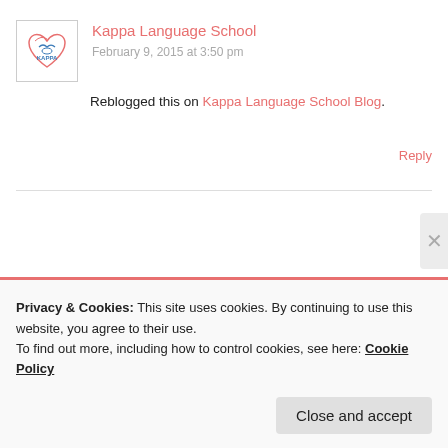[Figure (logo): Kappa Language School logo: heart shape with bird and text KAPPA inside a bordered square]
Kappa Language School
February 9, 2015 at 3:50 pm
Reblogged this on Kappa Language School Blog.
Reply
Privacy & Cookies: This site uses cookies. By continuing to use this website, you agree to their use.
To find out more, including how to control cookies, see here: Cookie Policy
Close and accept